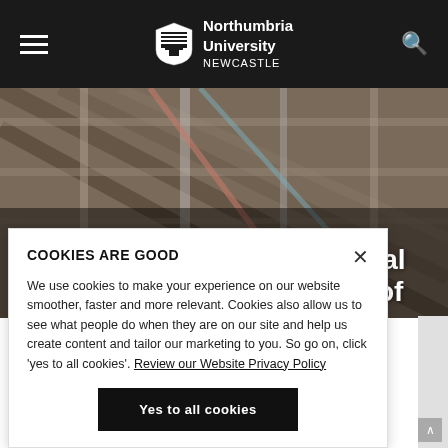Northumbria University NEWCASTLE
AT5004 - Year in International Business (This is made up of
COOKIES ARE GOOD
We use cookies to make your experience on our website smoother, faster and more relevant. Cookies also allow us to see what people do when they are on our site and help us create content and tailor our marketing to you. So go on, click 'yes to all cookies'. Review our Website Privacy Policy
Yes to all cookies